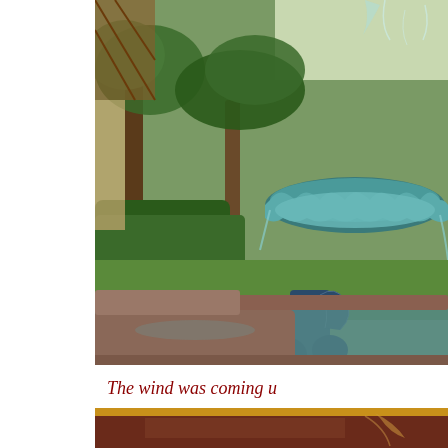[Figure (photo): Outdoor garden fountain with a tiered teal/blue-green ceramic basin, scrolled base, surrounded by palm trees, hedges, and green lawn in bright sunlight. The stone base/rim of the fountain pool is brownish-red. Water is overflowing from the upper basin.]
The wind was coming u
[Figure (photo): Bottom portion of another photo — warm reddish-brown tones with a golden/yellow border or edge visible, partial crop of an outdoor or interior scene.]